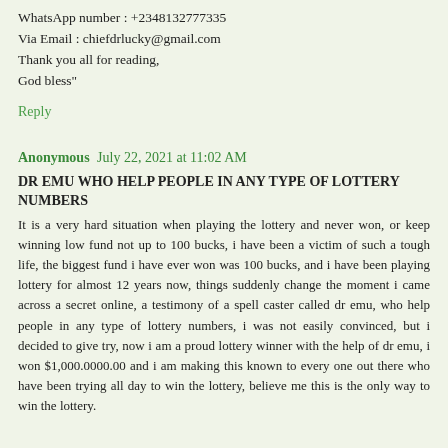WhatsApp number : +2348132777335
Via Email : chiefdrlucky@gmail.com
Thank you all for reading,
God bless"
Reply
Anonymous  July 22, 2021 at 11:02 AM
DR EMU WHO HELP PEOPLE IN ANY TYPE OF LOTTERY NUMBERS
It is a very hard situation when playing the lottery and never won, or keep winning low fund not up to 100 bucks, i have been a victim of such a tough life, the biggest fund i have ever won was 100 bucks, and i have been playing lottery for almost 12 years now, things suddenly change the moment i came across a secret online, a testimony of a spell caster called dr emu, who help people in any type of lottery numbers, i was not easily convinced, but i decided to give try, now i am a proud lottery winner with the help of dr emu, i won $1,000.0000.00 and i am making this known to every one out there who have been trying all day to win the lottery, believe me this is the only way to win the lottery.